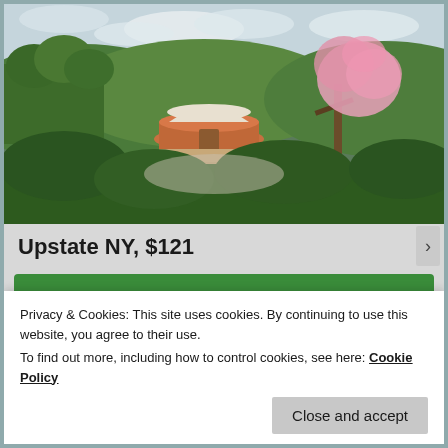[Figure (photo): Aerial/elevated view of a red yurt with white dome roof on a wooden deck surrounded by lush green vegetation and a blooming pink cherry/plum tree in the foreground. Rural upstate NY landscape with hills and trees in background under cloudy sky.]
Upstate NY, $121
[Figure (other): Partially visible green button with white text, cropped at top and bottom edges]
Privacy & Cookies: This site uses cookies. By continuing to use this website, you agree to their use.
To find out more, including how to control cookies, see here: Cookie Policy
Close and accept